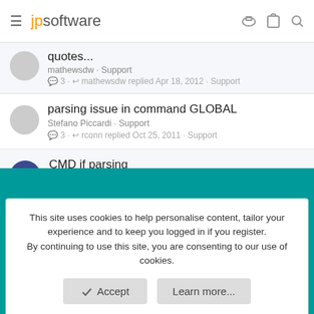jpsoftware
quotes... · mathewsdw · Support · 3 · mathewsdw replied Apr 18, 2012 · Support
parsing issue in command GLOBAL · Stefano Piccardi · Support · 3 · rconn replied Oct 25, 2011 · Support
CMD if parsing · Christian Albaret · Support · 2 · Christian Albaret replied Oct 3, 2011 · Support
This site uses cookies to help personalise content, tailor your experience and to keep you logged in if you register. By continuing to use this site, you are consenting to our use of cookies.